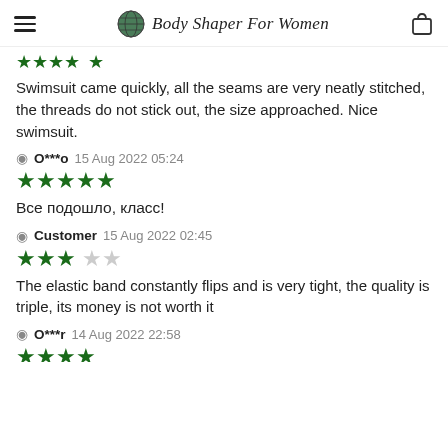Body Shaper For Women
[Figure (other): Partial star rating strip (cropped at top)]
Swimsuit came quickly, all the seams are very neatly stitched, the threads do not stick out, the size approached. Nice swimsuit.
O***o  15 Aug 2022 05:24
[Figure (other): 5 filled green stars rating]
Все подошло, класс!
Customer  15 Aug 2022 02:45
[Figure (other): 3 filled green stars, 2 empty stars rating]
The elastic band constantly flips and is very tight, the quality is triple, its money is not worth it
O***r  14 Aug 2022 22:58
[Figure (other): 4+ filled green stars rating (partial view)]